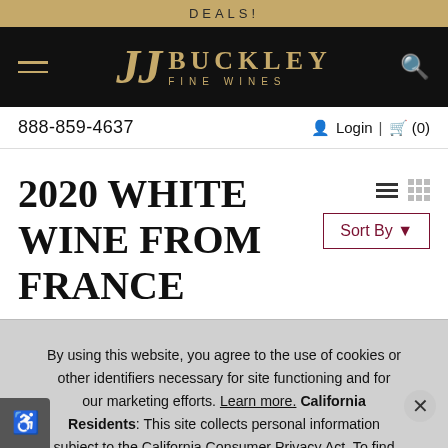DEALS!
[Figure (logo): JJ Buckley Fine Wines logo with hamburger menu icon and search icon on black navigation bar]
888-859-4637   Login | (0)
2020 WHITE WINE FROM FRANCE
Sort By
By using this website, you agree to the use of cookies or other identifiers necessary for site functioning and for our marketing efforts. Learn more. California Residents: This site collects personal information subject to the California Consumer Privacy Act. To find out more about the categories of personal information collected and the purposes for which such information may be used, please refer to our Privacy Policy.
OK